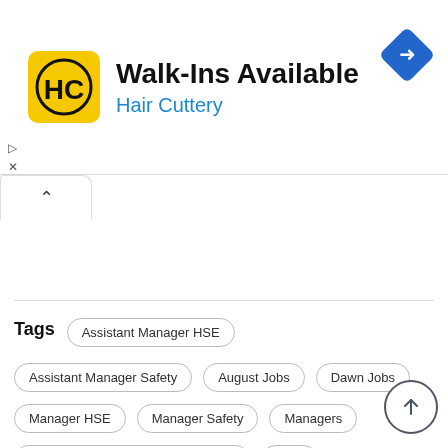[Figure (logo): Hair Cuttery logo: yellow square with HC monogram, plus ad title Walk-Ins Available and subtitle Hair Cuttery, with blue diamond turn arrow icon]
Walk-Ins Available
Hair Cuttery
Tags
Assistant Manager HSE
Assistant Manager Safety
August Jobs
Dawn Jobs
Manager HSE
Manager Safety
Managers
Pakistan Ordnance Factories Board
POF
Wah Cantt Jobs 2019 Pakistan Ordnance